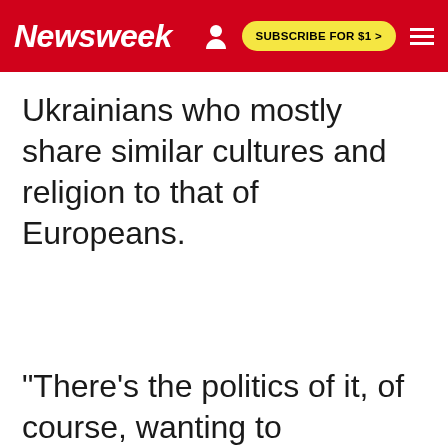Newsweek | SUBSCRIBE FOR $1 >
Ukrainians who mostly share similar cultures and religion to that of Europeans.
"There's the politics of it, of course, wanting to